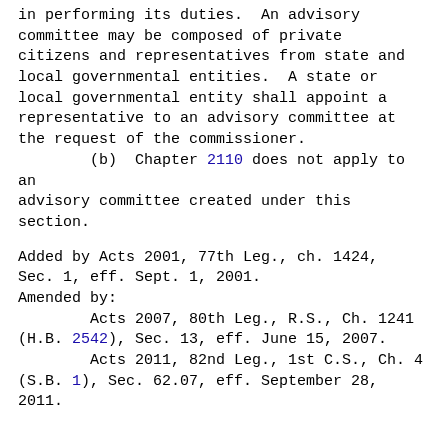in performing its duties.  An advisory committee may be composed of private citizens and representatives from state and local governmental entities.  A state or local governmental entity shall appoint a representative to an advisory committee at the request of the commissioner.
        (b)  Chapter 2110 does not apply to an advisory committee created under this section.
Added by Acts 2001, 77th Leg., ch. 1424, Sec. 1, eff. Sept. 1, 2001.
Amended by:
        Acts 2007, 80th Leg., R.S., Ch. 1241 (H.B. 2542), Sec. 13, eff. June 15, 2007.
        Acts 2011, 82nd Leg., 1st C.S., Ch. 4 (S.B. 1), Sec. 62.07, eff. September 28, 2011.